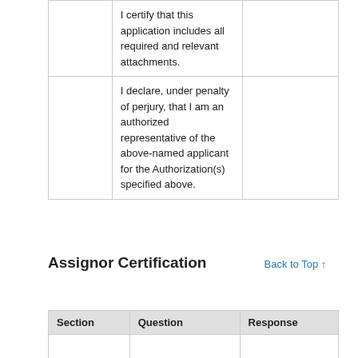| Section | Question | Response |
| --- | --- | --- |
|  | I certify that this application includes all required and relevant attachments. |  |
|  | I declare, under penalty of perjury, that I am an authorized representative of the above-named applicant for the Authorization(s) specified above. |  |
Assignor Certification
Back to Top ↑
| Section | Question | Response |
| --- | --- | --- |
|  |  |  |